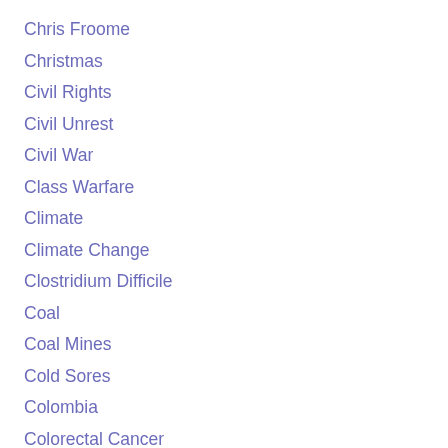Chris Froome
Christmas
Civil Rights
Civil Unrest
Civil War
Class Warfare
Climate
Climate Change
Clostridium Difficile
Coal
Coal Mines
Cold Sores
Colombia
Colorectal Cancer
Commercial Christmas
Communicable Diseases
Concussive Traumatic